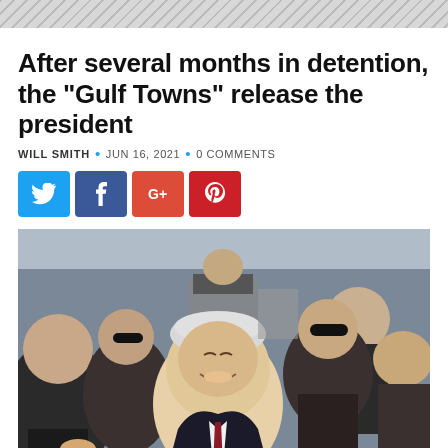After several months in detention, the “Gulf Towns” release the president
WILL SMITH • JUN 16, 2021 • 0 COMMENTS
[Figure (infographic): Four social media sharing buttons: Twitter (blue), Facebook (dark blue), Google+ (red-orange), Pinterest (red)]
[Figure (photo): A smiling older man with gray/white hair wearing a dark suit and tie, surrounded by a crowd of people, some wearing sunglasses, and photographers in the background.]